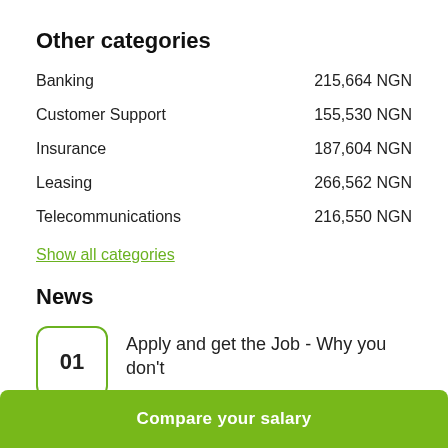Other categories
Banking    215,664 NGN
Customer Support    155,530 NGN
Insurance    187,604 NGN
Leasing    266,562 NGN
Telecommunications    216,550 NGN
Show all categories
News
01  Apply and get the Job - Why you don't
Compare your salary